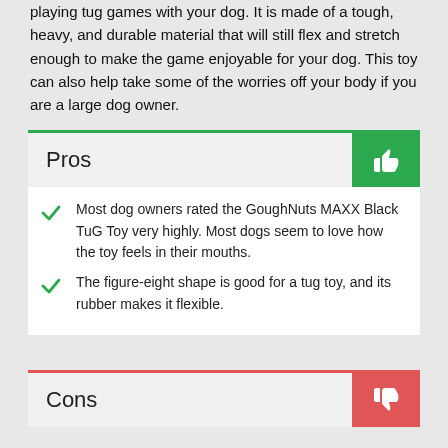playing tug games with your dog. It is made of a tough, heavy, and durable material that will still flex and stretch enough to make the game enjoyable for your dog. This toy can also help take some of the worries off your body if you are a large dog owner.
Pros
Most dog owners rated the GoughNuts MAXX Black TuG Toy very highly. Most dogs seem to love how the toy feels in their mouths.
The figure-eight shape is good for a tug toy, and its rubber makes it flexible.
Cons